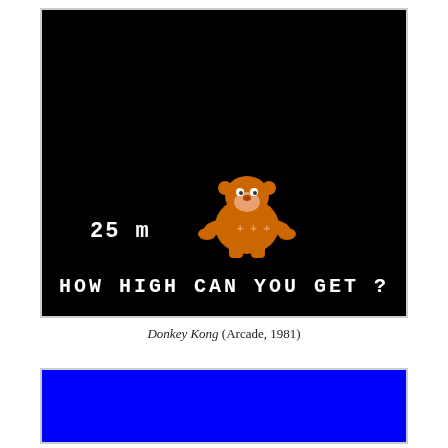[Figure (screenshot): Screenshot of Donkey Kong arcade game (1981) showing black background, an orange gorilla character in the lower center, '25 m' distance indicator on the left, and the text 'HOW HIGH CAN YOU GET ?' at the bottom in white pixel font.]
Donkey Kong (Arcade, 1981)
[Figure (screenshot): Partial screenshot of another game with a bright blue background, cropped at the bottom of the page.]